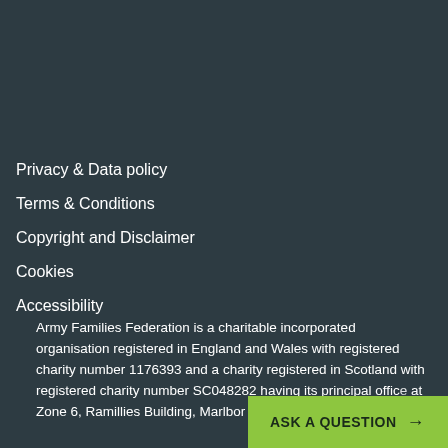Privacy & Data policy
Terms & Conditions
Copyright and Disclaimer
Cookies
Accessibility
Army Families Federation is a charitable incorporated organisation registered in England and Wales with registered charity number 1176393 and a charity registered in Scotland with registered charity number SC048282 having its principal office at Zone 6, Ramillies Building, Marlbor…
ASK A QUESTION →